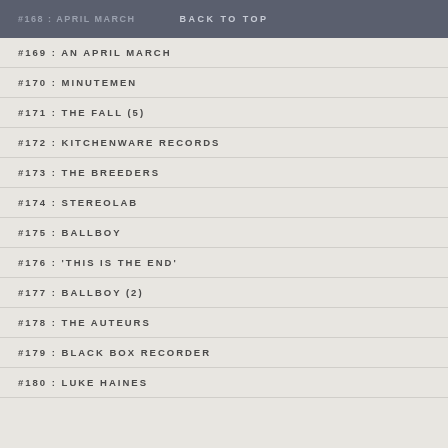BACK TO TOP | #168 : APRIL MARCH
#169 : AN APRIL MARCH
#170 : MINUTEMEN
#171 : THE FALL (5)
#172 : KITCHENWARE RECORDS
#173 : THE BREEDERS
#174 : STEREOLAB
#175 : BALLBOY
#176 : 'THIS IS THE END'
#177 : BALLBOY (2)
#178 : THE AUTEURS
#179 : BLACK BOX RECORDER
#180 : LUKE HAINES